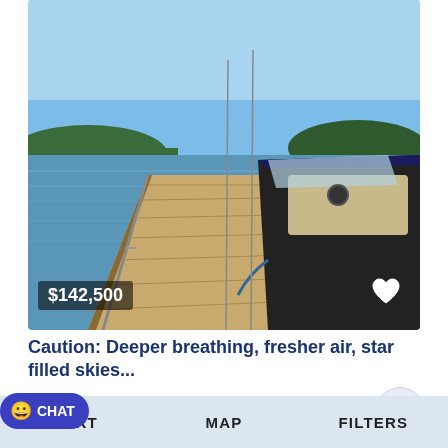[Figure (photo): A wooden dock extends toward a calm lake with trees on the far shore. A dark-hulled motorboat with beige interior is moored on the right side of the dock. Clear blue sky above.]
$142,500
Caution: Deeper breathing, fresher air, star filled skies...
Island Lake , Presque Isle , Wisconsin
SORT   MAP   FILTERS